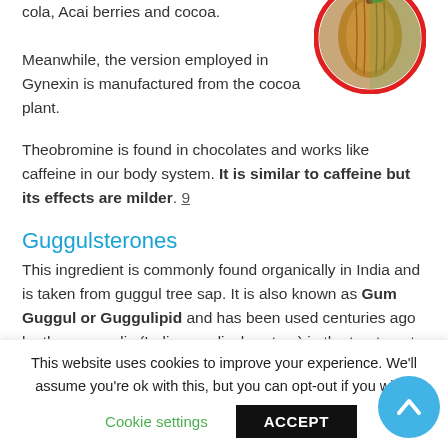cola, Acai berries and cocoa.
[Figure (photo): Cocoa pod fruit photo inside a red circular border]
Meanwhile, the version employed in Gynexin is manufactured from the cocoa plant.
Theobromine is found in chocolates and works like caffeine in our body system. It is similar to caffeine but its effects are milder. 9
Guggulsterones
This ingredient is commonly found organically in India and is taken from guggul tree sap. It is also known as Gum Guggul or Guggulipid and has been used centuries ago by the ayurvedic (Indian medical system) in the treatment of
This website uses cookies to improve your experience. We'll assume you're ok with this, but you can opt-out if you wish.
Cookie settings   ACCEPT